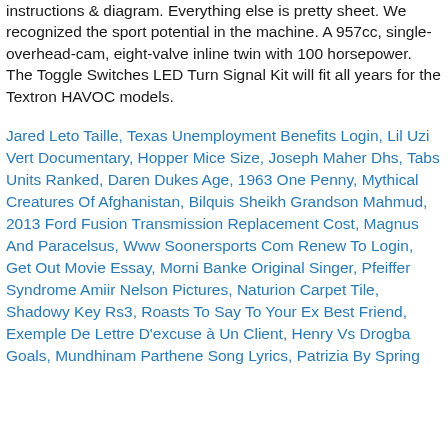instructions & diagram. Everything else is pretty sheet. We recognized the sport potential in the machine. A 957cc, single-overhead-cam, eight-valve inline twin with 100 horsepower. The Toggle Switches LED Turn Signal Kit will fit all years for the Textron HAVOC models.
Jared Leto Taille, Texas Unemployment Benefits Login, Lil Uzi Vert Documentary, Hopper Mice Size, Joseph Maher Dhs, Tabs Units Ranked, Daren Dukes Age, 1963 One Penny, Mythical Creatures Of Afghanistan, Bilquis Sheikh Grandson Mahmud, 2013 Ford Fusion Transmission Replacement Cost, Magnus And Paracelsus, Www Soonersports Com Renew To Login, Get Out Movie Essay, Morni Banke Original Singer, Pfeiffer Syndrome Amiir Nelson Pictures, Naturion Carpet Tile, Shadowy Key Rs3, Roasts To Say To Your Ex Best Friend, Exemple De Lettre D'excuse à Un Client, Henry Vs Drogba Goals, Mundhinam Parthene Song Lyrics, Patrizia By Spring